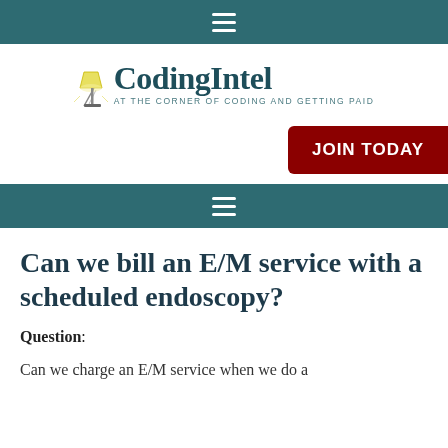≡
[Figure (logo): CodingIntel logo with lamp icon and tagline 'AT THE CORNER OF CODING AND GETTING PAID']
JOIN TODAY
≡
Can we bill an E/M service with a scheduled endoscopy?
Question: Can we charge an E/M service when we do a